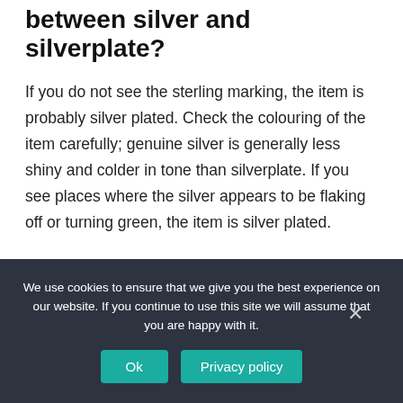between silver and silverplate?
If you do not see the sterling marking, the item is probably silver plated. Check the colouring of the item carefully; genuine silver is generally less shiny and colder in tone than silverplate. If you see places where the silver appears to be flaking off or turning green, the item is silver plated.
How do I know if my old silverware is valuable?
We use cookies to ensure that we give you the best experience on our website. If you continue to use this site we will assume that you are happy with it.